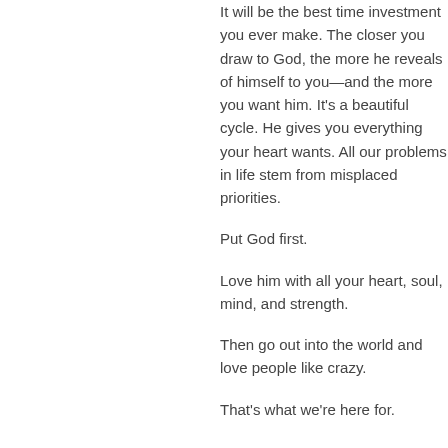It will be the best time investment you ever make. The closer you draw to God, the more he reveals of himself to you—and the more you want him. It's a beautiful cycle. He gives you everything your heart wants. All our problems in life stem from misplaced priorities.
Put God first.
Love him with all your heart, soul, mind, and strength.
Then go out into the world and love people like crazy.
That's what we're here for.